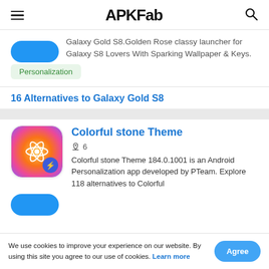APKFab
Galaxy Gold S8.Golden Rose classy launcher for Galaxy S8 Lovers With Sparking Wallpaper & Keys.
Personalization
16 Alternatives to Galaxy Gold S8
Colorful stone Theme
6
Colorful stone Theme 184.0.1001 is an Android Personalization app developed by PTeam. Explore 118 alternatives to Colorful
We use cookies to improve your experience on our website. By using this site you agree to our use of cookies. Learn more